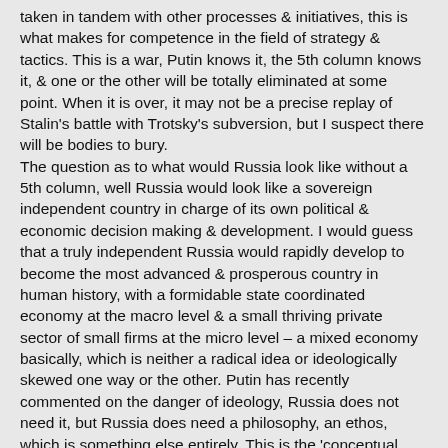taken in tandem with other processes & initiatives, this is what makes for competence in the field of strategy & tactics. This is a war, Putin knows it, the 5th column knows it, & one or the other will be totally eliminated at some point. When it is over, it may not be a precise replay of Stalin's battle with Trotsky's subversion, but I suspect there will be bodies to bury.
The question as to what would Russia look like without a 5th column, well Russia would look like a sovereign independent country in charge of its own political & economic decision making & development. I would guess that a truly independent Russia would rapidly develop to become the most advanced & prosperous country in human history, with a formidable state coordinated economy at the macro level & a small thriving private sector of small firms at the micro level – a mixed economy basically, which is neither a radical idea or ideologically skewed one way or the other. Putin has recently commented on the danger of ideology, Russia does not need it, but Russia does need a philosophy, an ethos, which is something else entirely. This is the 'conceptual power' or 'conceptual governance' that Viktor Efimov has talked about, without it, a state cannot survive for any amount of time.